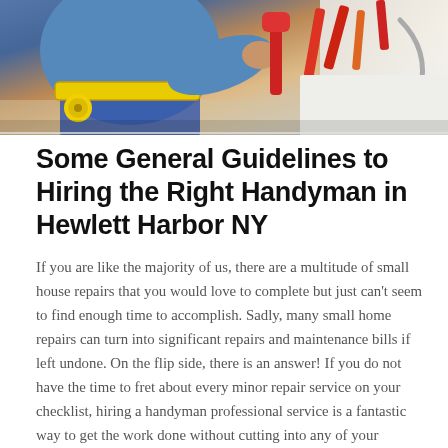[Figure (photo): A handyman or plumber working, wearing a blue shirt and yellow tool belt, with tools including red-handled pliers, wrenches, and other implements visible on a white surface.]
Some General Guidelines to Hiring the Right Handyman in Hewlett Harbor NY
If you are like the majority of us, there are a multitude of small house repairs that you would love to complete but just can't seem to find enough time to accomplish. Sadly, many small home repairs can turn into significant repairs and maintenance bills if left undone. On the flip side, there is an answer! If you do not have the time to fret about every minor repair service on your checklist, hiring a handyman professional service is a fantastic way to get the work done without cutting into any of your available family time.
Locating and Working with an experienced professional like a plumber or electrician or HVAC pro to complete specific repairs in your home can get very expensive, so you should consider hiring a handyman instead. Some handymen provide services for certain home repairs